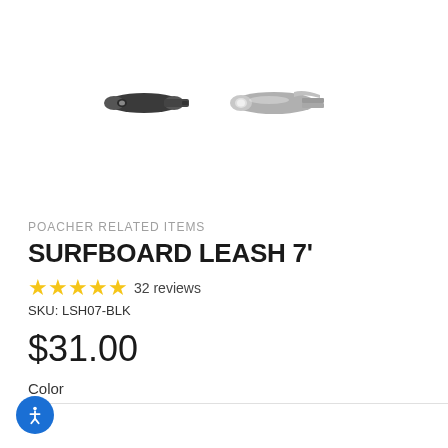[Figure (photo): Two small metal surfboard leash connectors/plugs shown side by side against white background]
POACHER RELATED ITEMS
SURFBOARD LEASH 7'
★★★★★ 32 reviews
SKU: LSH07-BLK
$31.00
Color